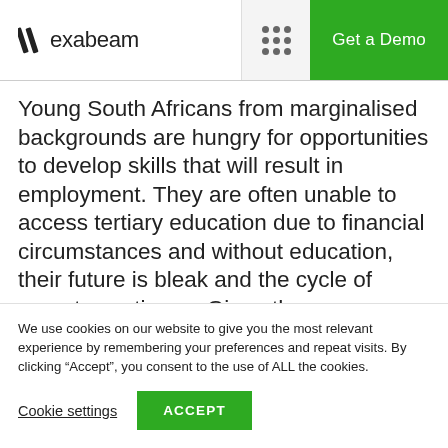exabeam | Get a Demo
Young South Africans from marginalised backgrounds are hungry for opportunities to develop skills that will result in employment. They are often unable to access tertiary education due to financial circumstances and without education, their future is bleak and the cycle of poverty continues. Given the enormous need for skilled cybersecurity professionals locally and globally, we saw the
We use cookies on our website to give you the most relevant experience by remembering your preferences and repeat visits. By clicking “Accept”, you consent to the use of ALL the cookies.
Cookie settings | ACCEPT